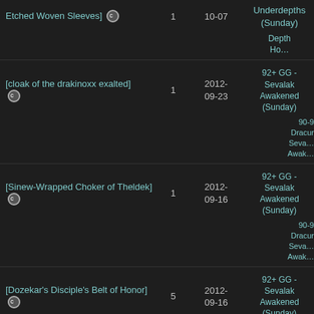| Item | Qty | Date | Raid |
| --- | --- | --- | --- |
| Etched Woven Sleeves] [c] | 1 | 10-07 | Underdepths (Sunday) | Depths Ho… |
| [cloak of the drakinoxx exalted] [c] | 1 | 2012-09-23 | 92+ GG - Sevalak Awakened (Sunday) | Dracur Seva… Awak… 90-9… |
| [Sinew-Wrapped Choker of Theldek] [c] | 1 | 2012-09-16 | 92+ GG - Sevalak Awakened (Sunday) | Dracur Seva… Awak… 90-9… |
| [Dozekar's Disciple's Belt of Honor] [c] | 5 | 2012-09-16 | 92+ GG - Sevalak Awakened (Sunday) | Dracur Seva… Awak… 90-9… |
| [Wand of Dracurian Projection] [c] | 1 | 2012-09-14 | 92+ GG Sollan Spire HM (Friday) | 92+ Su Spire… |
| [Dracurian Legion's… | 2012-… | 92+ GG - Sevalak | Dra… |  |